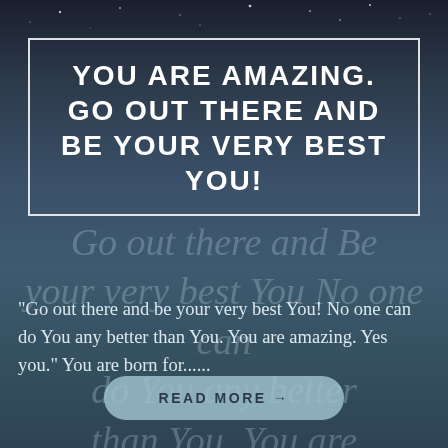[Figure (illustration): Dark navy/teal blurred seascape background with stars at top and large semi-transparent watermark text]
YOU ARE AMAZING. GO OUT THERE AND BE YOUR VERY BEST YOU!
Go out there and Be your very best You No one can do You any better than You. You are Amazing. Yes you.
“Go out there and be your very best You! No one can do You any better than You. You are amazing. Yes you.” You are born for......
READ MORE →